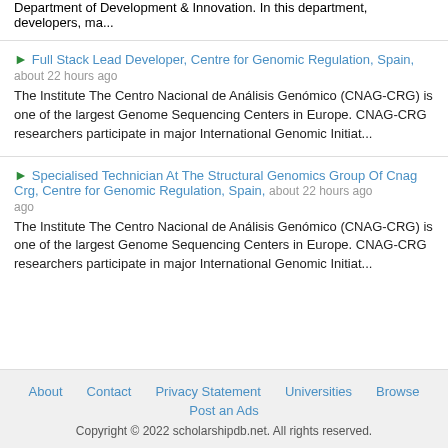Department of Development & Innovation. In this department, developers, ma...
Full Stack Lead Developer, Centre for Genomic Regulation, Spain, about 22 hours ago
The Institute The Centro Nacional de Análisis Genómico (CNAG-CRG) is one of the largest Genome Sequencing Centers in Europe. CNAG-CRG researchers participate in major International Genomic Initiat...
Specialised Technician At The Structural Genomics Group Of Cnag Crg, Centre for Genomic Regulation, Spain, about 22 hours ago
The Institute The Centro Nacional de Análisis Genómico (CNAG-CRG) is one of the largest Genome Sequencing Centers in Europe. CNAG-CRG researchers participate in major International Genomic Initiat...
About | Contact | Privacy Statement | Universities | Browse | Post an Ads
Copyright © 2022 scholarshipdb.net. All rights reserved.